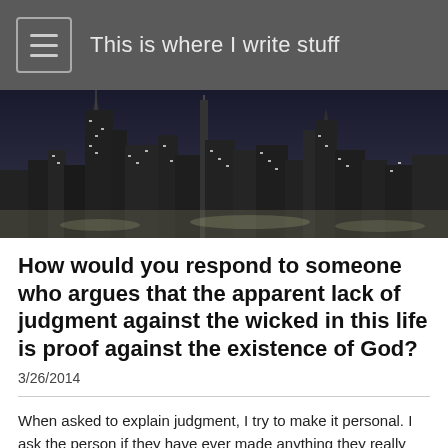This is where I write stuff
[Figure (photo): Black and white nighttime cityscape with skyscrapers and city lights]
How would you respond to someone who argues that the apparent lack of judgment against the wicked in this life is proof against the existence of God?
3/26/2014
When asked to explain judgment, I try to make it personal. I ask the person if they have ever made anything they really loved and enjoyed. Then I explain, it is like the dinosaur I made in 3rd grade: we were asked, by our teacher, to take some clay home and make a